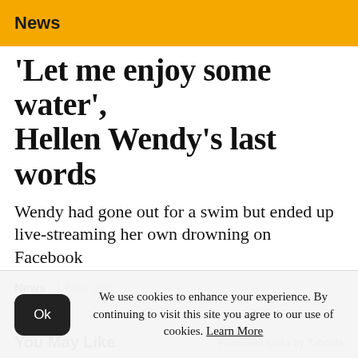News
'Let me enjoy some water', Hellen Wendy's last words
Wendy had gone out for a swim but ended up live-streaming her own drowning on Facebook
News  1 hour ago
You May Like
Promoted Links by Taboola
[Figure (photo): Advertisement banner image showing a gradient from skin/copper tone on the left to dark navy/black on the right]
We use cookies to enhance your experience. By continuing to visit this site you agree to our use of cookies. Learn More